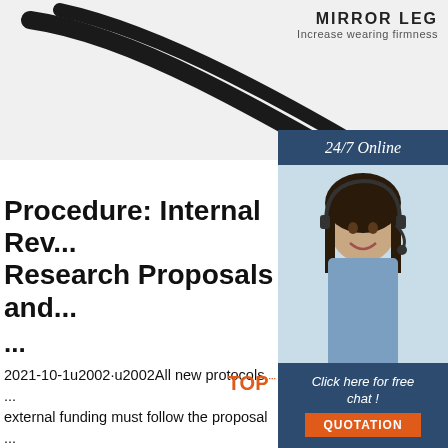[Figure (photo): Black eyeglasses arms/legs on white/light background, product advertisement for mirror leg]
MIRROR LEG
Increase wearing firmness
[Figure (photo): 24/7 Online support banner with woman wearing headset, chat and quotation buttons]
Procedure: Internal Rev... Research Proposals and...
...
2021-10-1u2002·u2002All new protocols ... external funding must follow the proposal ... process via the eRA Pre-awards module. ... outside the published submission-review cycle for which ... there is reasonable confidence that UCTHREC will also offer expedited review. 'Reasonable confidence' would in almost all instances need the investigator ...